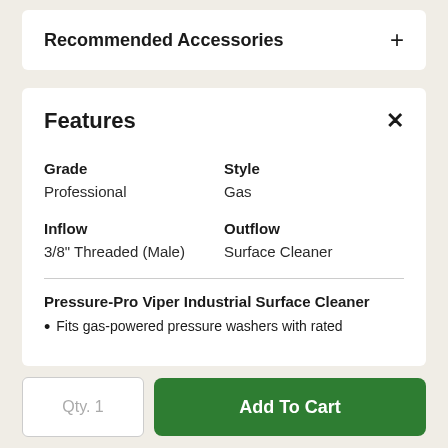Recommended Accessories
Features
| Grade | Style |
| --- | --- |
| Professional | Gas |
| Inflow | Outflow |
| --- | --- |
| 3/8" Threaded (Male) | Surface Cleaner |
Pressure-Pro Viper Industrial Surface Cleaner
Fits gas-powered pressure washers with rated
Qty. 1
Add To Cart